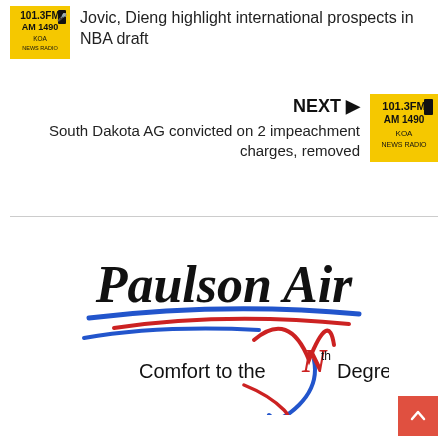[Figure (logo): KOA News Radio 101.3 FM / AM 1490 yellow square logo]
Jovic, Dieng highlight international prospects in NBA draft
NEXT ▶
South Dakota AG convicted on 2 impeachment charges, removed
[Figure (logo): KOA News Radio 101.3 FM / AM 1490 yellow square logo]
[Figure (logo): Paulson Air - Comfort to the Nth Degree logo]